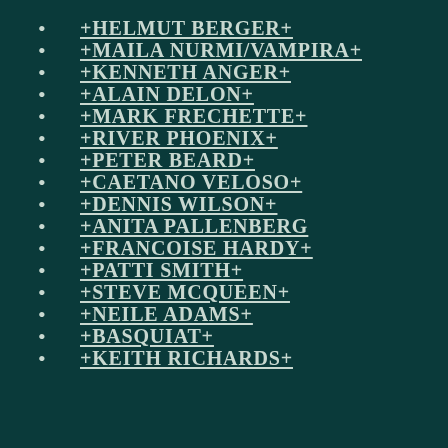+HELMUT BERGER+
+MAILA NURMI/VAMPIRA+
+KENNETH ANGER+
+ALAIN DELON+
+MARK FRECHETTE+
+RIVER PHOENIX+
+PETER BEARD+
+CAETANO VELOSO+
+DENNIS WILSON+
+ANITA PALLENBERG
+FRANCOISE HARDY+
+PATTI SMITH+
+STEVE MCQUEEN+
+NEILE ADAMS+
+BASQUIAT+
+KEITH RICHARDS+